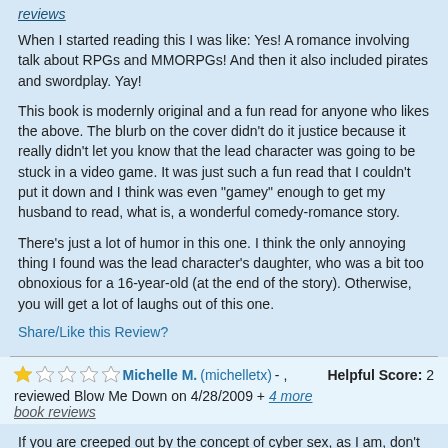reviews
When I started reading this I was like: Yes! A romance involving talk about RPGs and MMORPGs! And then it also included pirates and swordplay. Yay!
This book is modernly original and a fun read for anyone who likes the above. The blurb on the cover didn't do it justice because it really didn't let you know that the lead character was going to be stuck in a video game. It was just such a fun read that I couldn't put it down and I think was even "gamey" enough to get my husband to read, what is, a wonderful comedy-romance story.
There's just a lot of humor in this one. I think the only annoying thing I found was the lead character's daughter, who was a bit too obnoxious for a 16-year-old (at the end of the story). Otherwise, you will get a lot of laughs out of this one.
Share/Like this Review?
Michelle M. (michelletx) - , reviewed Blow Me Down on 4/28/2009 + 4 more book reviews   Helpful Score: 2
If you are creeped out by the concept of cyber sex, as I am, don't read this book. Very little character development while gaming is